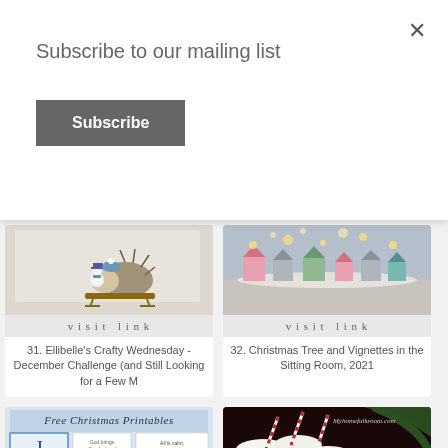Subscribe to our mailing list
Subscribe
[Figure (photo): Hedgehog on sled illustration on fabric - Ellibelle's Crafty Wednesday]
visit link
31. Ellibelle's Crafty Wednesday - December Challenge (and Still Looking for a Few M
[Figure (photo): Small glitter houses with lights on a table vignette]
visit link
32. Christmas Tree and Vignettes in the Sitting Room, 2021
[Figure (photo): Free Christmas Printables collage image]
[Figure (photo): Hot cocoa drinks with whipped cream and candy cane straws in red mugs]